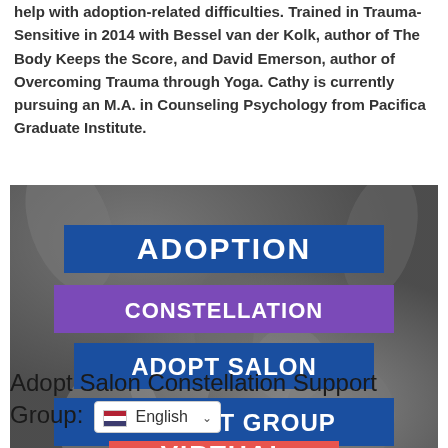help with adoption-related difficulties. Trained in Trauma-Sensitive in 2014 with Bessel van der Kolk, author of The Body Keeps the Score, and David Emerson, author of Overcoming Trauma through Yoga. Cathy is currently pursuing an M.A. in Counseling Psychology from Pacifica Graduate Institute.
[Figure (photo): Black and white photo of multiple hands joined together in a circle. Overlaid with colored banner text reading: ADOPTION (blue), CONSTELLATION (purple), ADOPT SALON (blue), SUPPORT GROUP (blue), VIRTUAL (red/coral).]
Adopt Salon Constellation Support Group: English